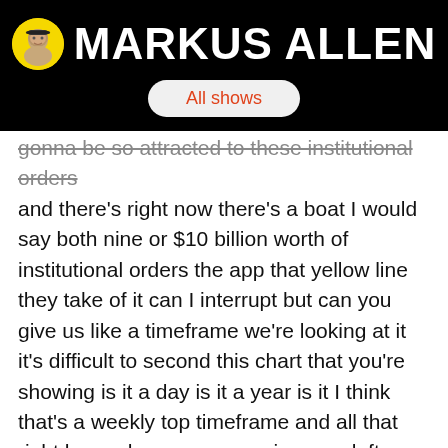MARKUS ALLEN
All shows
gonna be so attracted to these institutional orders and there's right now there's a boat I would say both nine or $10 billion worth of institutional orders the app that yellow line they take of it can I interrupt but can you give us like a timeframe we're looking at it it's difficult to second this chart that you're showing is it a day is it a year is it I think that's a weekly top timeframe and all that right here where my cursor is yo-yo left that's 2017 yes yeah yeah the the actual timeframe is a weekly timeframe so if you go up to if you look up to the top left-hand corner you'll see the word weekly they're all right now weekly up yeah it's very hard to see but yeah these are weeks yeah I am OK I'm sorry interrupt I just want some reference on